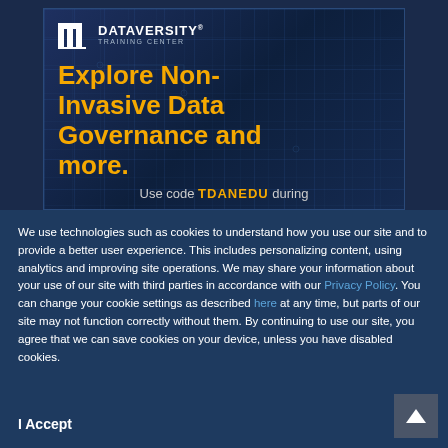[Figure (illustration): DATAVERSITY Training Center advertisement banner with dark blue background and circuit pattern. Large orange text reads 'Explore Non-Invasive Data Governance and more.' with a promo code line at the bottom: 'Use code TDANEDU during']
We use technologies such as cookies to understand how you use our site and to provide a better user experience. This includes personalizing content, using analytics and improving site operations. We may share your information about your use of our site with third parties in accordance with our Privacy Policy. You can change your cookie settings as described here at any time, but parts of our site may not function correctly without them. By continuing to use our site, you agree that we can save cookies on your device, unless you have disabled cookies.
I Accept